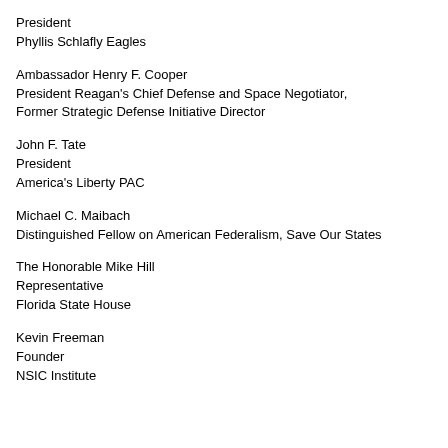President
Phyllis Schlafly Eagles
Ambassador Henry F. Cooper
President Reagan's Chief Defense and Space Negotiator,
Former Strategic Defense Initiative Director
John F. Tate
President
America's Liberty PAC
Michael C. Maibach
Distinguished Fellow on American Federalism, Save Our States
The Honorable Mike Hill
Representative
Florida State House
Kevin Freeman
Founder
NSIC Institute